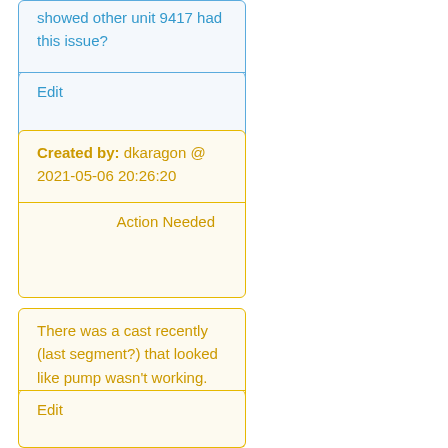showed other unit 9417 had this issue?
Edit
Created by: dkaragon @ 2021-05-06 20:26:20
Action Needed
There was a cast recently (last segment?) that looked like pump wasn't working.
Edit